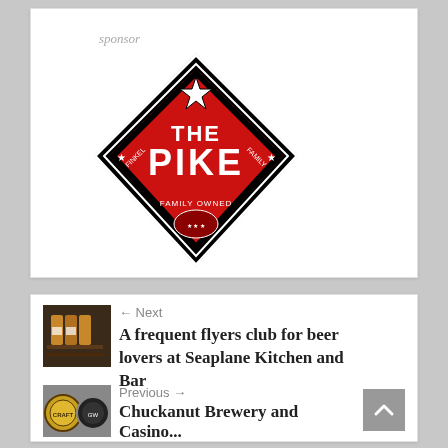sponsor
[Figure (logo): The Pike brewery logo — diamond-shaped badge in black and red with ornate decorative elements and the text 'THE PIKE' prominently in the center]
← Next
[Figure (photo): Thumbnail photo of beer cans/bottles on a shelf]
A frequent flyers club for beer lovers at Seaplane Kitchen and Bar
Previous →
[Figure (logo): Two circular brewery logos side by side]
Chuckanut Brewery and Casino...